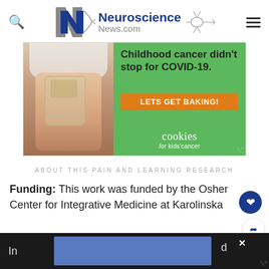Neuroscience News.com
[Figure (photo): Advertisement banner for Cookies for Kids' Cancer showing hands holding a jar with text: Childhood cancer didn't stop for COVID-19. LETS GET BAKING! cookies for kids' cancer]
ABOUT THIS PAIN AND LEARNING RESEARCH
Funding: This work was funded by the Osher Center for Integrative Medicine at Karolinska In... d...a